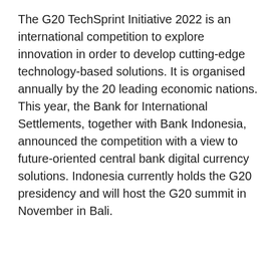The G20 TechSprint Initiative 2022 is an international competition to explore innovation in order to develop cutting-edge technology-based solutions. It is organised annually by the 20 leading economic nations. This year, the Bank for International Settlements, together with Bank Indonesia, announced the competition with a view to future-oriented central bank digital currency solutions. Indonesia currently holds the G20 presidency and will host the G20 summit in November in Bali.